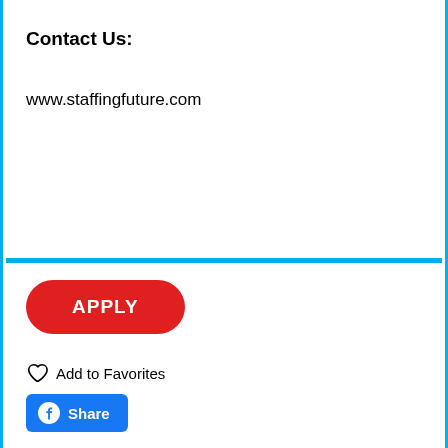Contact Us:
www.staffingfuture.com
[Figure (other): Horizontal blue divider line]
[Figure (other): Red rounded APPLY button]
Add to Favorites
[Figure (other): Blue Facebook Share button with Facebook logo icon]